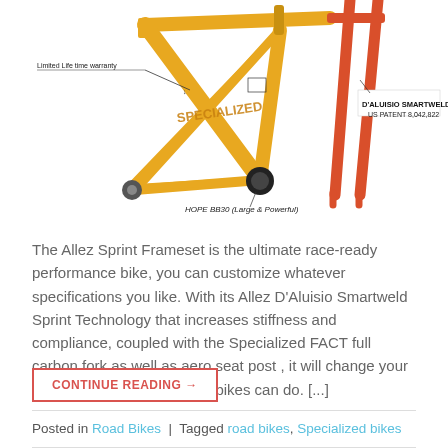[Figure (illustration): Allez Sprint bike frameset diagram showing a yellow/gold aluminum frame with red carbon fork. Labeled callouts include 'Limited Life time warranty' with arrow pointing to frame, 'D'ALUISIO SMARTWELD US PATENT 8,042,822' on the right near fork, and 'HOPE BB30 (Large & Powerful)' at the bottom bracket area.]
The Allez Sprint Frameset is the ultimate race-ready performance bike, you can customize whatever specifications you like. With its Allez D'Aluisio Smartweld Sprint Technology that increases stiffness and compliance, coupled with the Specialized FACT full carbon fork as well as aero seat post , it will change your mind about what aluminum bikes can do. [...]
CONTINUE READING →
Posted in Road Bikes | Tagged road bikes, Specialized bikes